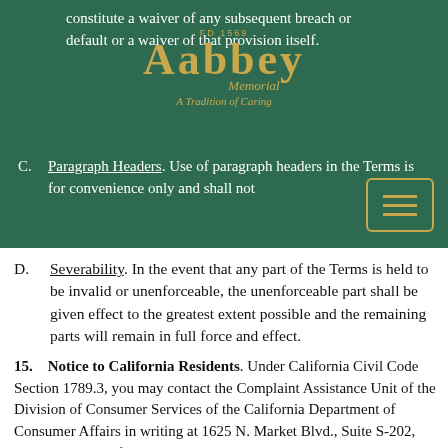constitute a waiver of any subsequent breach or default or a waiver of that provision itself.
[Figure (logo): Abbey Memorial FD 1569 logo with tagline 'A Tradition of Caring' in gold on dark green background]
C. Paragraph Headers. Use of paragraph headers in the Terms is for convenience only and shall not
D. Severability. In the event that any part of the Terms is held to be invalid or unenforceable, the unenforceable part shall be given effect to the greatest extent possible and the remaining parts will remain in full force and effect.
15. Notice to California Residents. Under California Civil Code Section 1789.3, you may contact the Complaint Assistance Unit of the Division of Consumer Services of the California Department of Consumer Affairs in writing at 1625 N. Market Blvd., Suite S-202, Sacramento, California 95834, or by telephone at (800) 952-5210 in order to resolve a complaint regarding the service or to receive further information